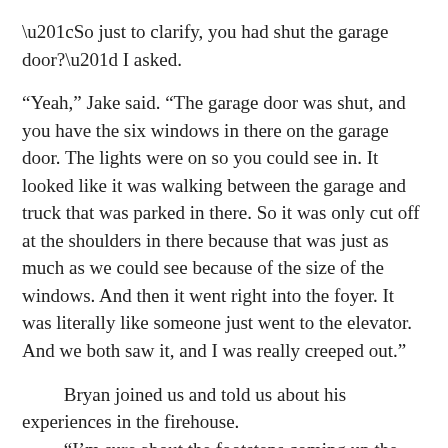“So just to clarify, you had shut the garage door?” I asked.
“Yeah,” Jake said. “The garage door was shut, and you have the six windows in there on the garage door. The lights were on so you could see in. It looked like it was walking between the garage and truck that was parked in there. So it was only cut off at the shoulders in there because that was just as much as we could see because of the size of the windows. And then it went right into the foyer. It was literally like someone just went to the elevator. And we both saw it, and I was really creeped out.”
Bryan joined us and told us about his experiences in the firehouse.
“I’m sure about the footsteps coming up the steps,” he said. “I’ll be coming in here some days and it sounds like somebody is literally running up the steps and I think it’s one of our members who sometimes stays here